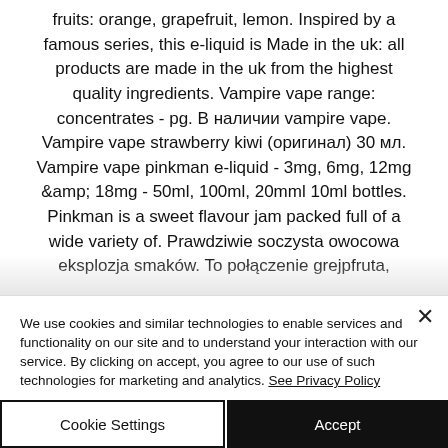fruits: orange, grapefruit, lemon. Inspired by a famous series, this e-liquid is Made in the uk: all products are made in the uk from the highest quality ingredients. Vampire vape range: concentrates - pg. В наличии vampire vape. Vampire vape strawberry kiwi (оригинал) 30 мл. Vampire vape pinkman e-liquid - 3mg, 6mg, 12mg &amp; 18mg - 50ml, 100ml, 20mml 10ml bottles. Pinkman is a sweet flavour jam packed full of a wide variety of. Prawdziwie soczysta owocowa eksplozja smaków. To połączenie grejpfruta,
We use cookies and similar technologies to enable services and functionality on our site and to understand your interaction with our service. By clicking on accept, you agree to our use of such technologies for marketing and analytics. See Privacy Policy
Cookie Settings
Accept